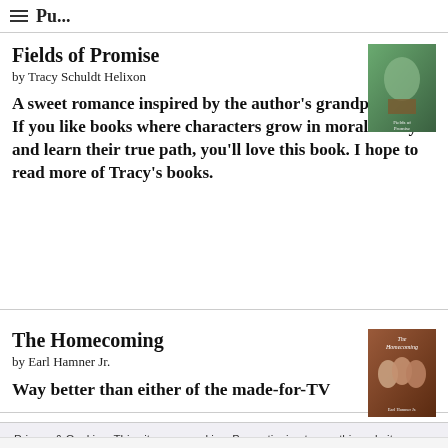Pu...
Fields of Promise
by Tracy Schuldt Helixon
A sweet romance inspired by the author's grandparents. If you like books where characters grow in moral acuity and learn their true path, you'll love this book. I hope to read more of Tracy's books.
[Figure (photo): Book cover for Fields of Promise showing a rural outdoor scene]
The Homecoming
by Earl Hamner Jr.
Way better than either of the made-for-TV
[Figure (photo): Book cover for The Homecoming showing group of people]
Privacy & Cookies: This site uses cookies. By continuing to use this website, you agree to their use.
To find out more, including how to control cookies, see here: Cookie Policy
Close and accept